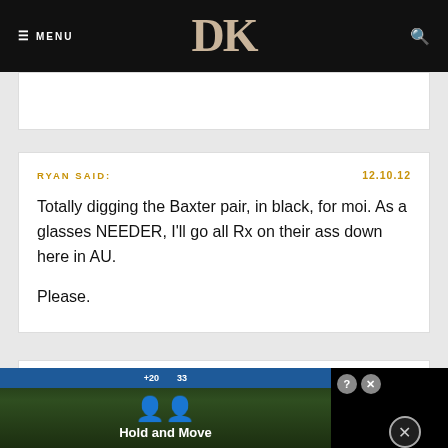MENU | DK
RYAN SAID: 12.10.12
Totally digging the Baxter pair, in black, for moi. As a glasses NEEDER, I'll go all Rx on their ass down here in AU.

Please.
RY... 12
Als
[Figure (screenshot): Ad overlay showing a mobile game advertisement with 'Hold and Move' label, score bar, and dismiss button]